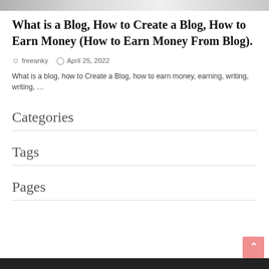[Figure (photo): Partial top of image showing hands or objects on a desk, cropped at top of page]
What is a Blog, How to Create a Blog, How to Earn Money (How to Earn Money From Blog).
freeanky   April 25, 2022
What is a blog, how to Create a Blog, how to earn money, earning, writing, writing, …
Categories
Tags
Pages